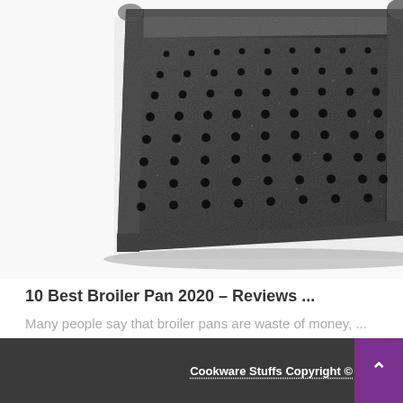[Figure (photo): Close-up photo of a dark speckled broiler pan with holes/perforations, viewed from a slight angle, showing the textured surface and rounded rectangular frame. The pan has a granite-like dark coating.]
10 Best Broiler Pan 2020 – Reviews ...
Many people say that broiler pans are waste of money, ...
Cookware Stuffs Copyright ©